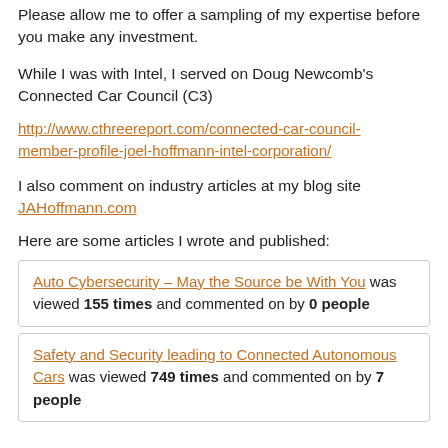Please allow me to offer a sampling of my expertise before you make any investment.
While I was with Intel, I served on Doug Newcomb's Connected Car Council (C3)
http://www.cthreereport.com/connected-car-council-member-profile-joel-hoffmann-intel-corporation/
I also comment on industry articles at my blog site JAHoffmann.com
Here are some articles I wrote and published:
Auto Cybersecurity – May the Source be With You was viewed 155 times and commented on by 0 people
Safety and Security leading to Connected Autonomous Cars was viewed 749 times and commented on by 7 people